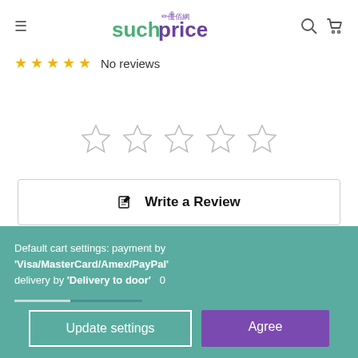suchprice
☆☆☆☆☆ No reviews
[Figure (other): Five large empty star rating icons centered on page]
✎ Write a Review
Default cart settings: payment by 'Visa/MasterCard/Amex/PayPal' delivery by 'Delivery to door'
Update settings  Agree